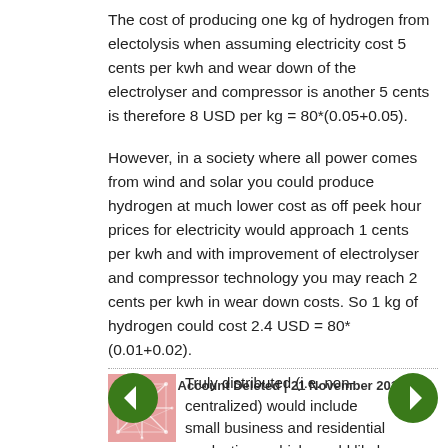The cost of producing one kg of hydrogen from electolysis when assuming electricity cost 5 cents per kwh and wear down of the electrolyser and compressor is another 5 cents is therefore 8 USD per kg = 80*(0.05+0.05).
However, in a society where all power comes from wind and solar you could produce hydrogen at much lower cost as off peek hour prices for electricity would approach 1 cents per kwh and with improvement of electrolyser and compressor technology you may reach 2 cents per kwh in wear down costs. So 1 kg of hydrogen could cost 2.4 USD = 80*(0.01+0.02).
Posted by: Account Deleted | 21 November 2014 at 07:54 AM
[Figure (illustration): Pink/red abstract network or web pattern avatar image]
Truly distributed (i.e. non-centralized) would include small business and residential production - which would likely require a system that could intermittently produce and store from multiple inputs based on the user's criteria - cost, simultaneous